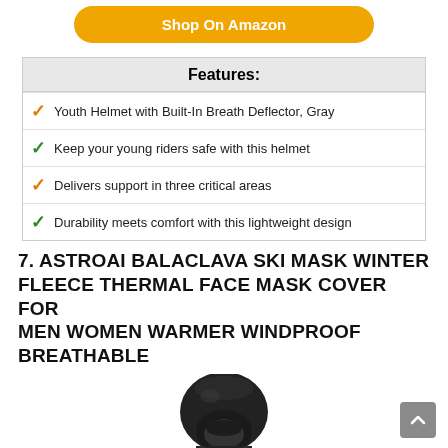Shop On Amazon
| Features: |
| --- |
| ✓ Youth Helmet with Built-In Breath Deflector, Gray |
| ✓ Keep your young riders safe with this helmet |
| ✓ Delivers support in three critical areas |
| ✓ Durability meets comfort with this lightweight design |
7. ASTROAI BALACLAVA SKI MASK WINTER FLEECE THERMAL FACE MASK COVER FOR MEN WOMEN WARMER WINDPROOF BREATHABLE
[Figure (photo): Black balaclava ski mask product photo showing the full head covering with face opening]